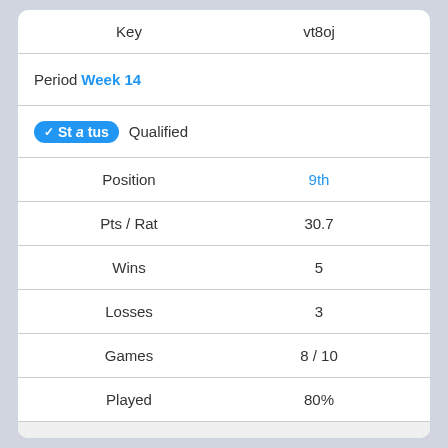| Key | vt8oj |
| --- | --- |
| Period / Week 14 |  |
| Status (Qualified) |  |
| Position | 9th |
| Pts / Rat | 30.7 |
| Wins | 5 |
| Losses | 3 |
| Games | 8 / 10 |
| Played | 80% |
| Key | 4bqau |
| Period / Week 13 |  |
| Status (Entered) |  |